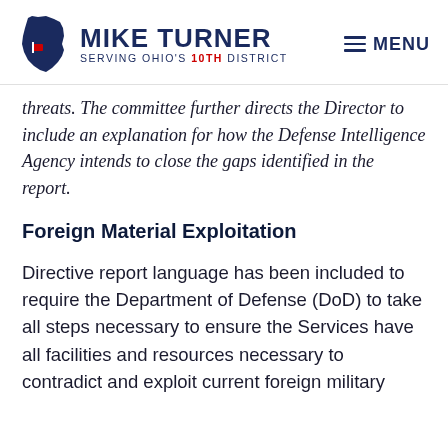MIKE TURNER — SERVING OHIO'S 10TH DISTRICT | MENU
threats. The committee further directs the Director to include an explanation for how the Defense Intelligence Agency intends to close the gaps identified in the report.
Foreign Material Exploitation
Directive report language has been included to require the Department of Defense (DoD) to take all steps necessary to ensure the Services have all facilities and resources necessary to contradict and exploit current foreign military